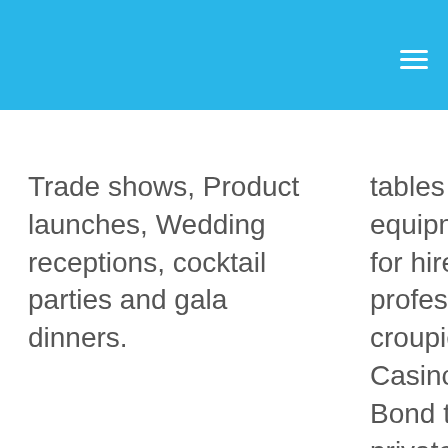Trade shows, Product launches, Wedding receptions, cocktail parties and gala dinners.
tables and equipment available for hire with professional croupiers. Ideal for Casino or James Bond theme nights, private parties, weddings, corporate functions and events.